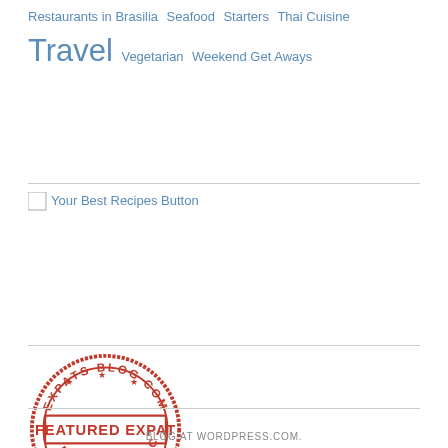Restaurants in Brasilia  Seafood  Starters  Thai Cuisine  Travel  Vegetarian  Weekend Get Aways
[Figure (other): Your Best Recipes Button image placeholder with alt text 'Your Best Recipes Button']
[Figure (logo): Expats Blog Com Featured Expat stamp logo in red ink style]
BLOG AT WORDPRESS.COM.